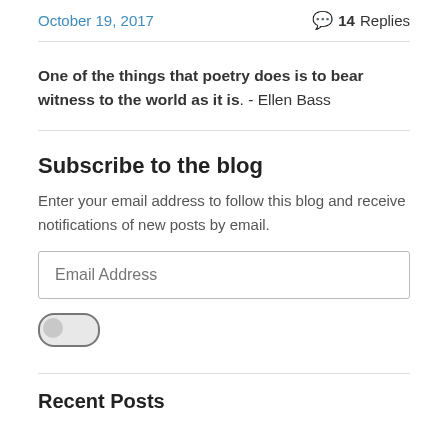October 19, 2017   14 Replies
One of the things that poetry does is to bear witness to the world as it is. - Ellen Bass
Subscribe to the blog
Enter your email address to follow this blog and receive notifications of new posts by email.
Recent Posts